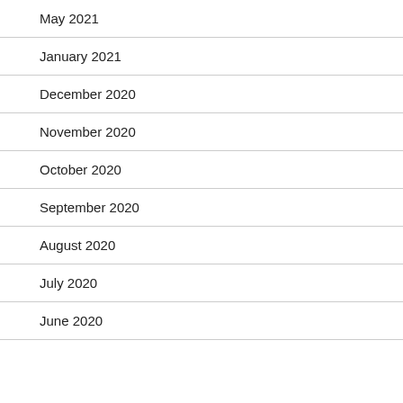May 2021
January 2021
December 2020
November 2020
October 2020
September 2020
August 2020
July 2020
June 2020